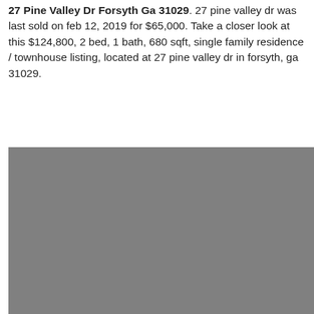27 Pine Valley Dr Forsyth Ga 31029. 27 pine valley dr was last sold on feb 12, 2019 for $65,000. Take a closer look at this $124,800, 2 bed, 1 bath, 680 sqft, single family residence / townhouse listing, located at 27 pine valley dr in forsyth, ga 31029.
[Figure (photo): Photograph of the property at 27 Pine Valley Dr, shown as a grey placeholder image.]